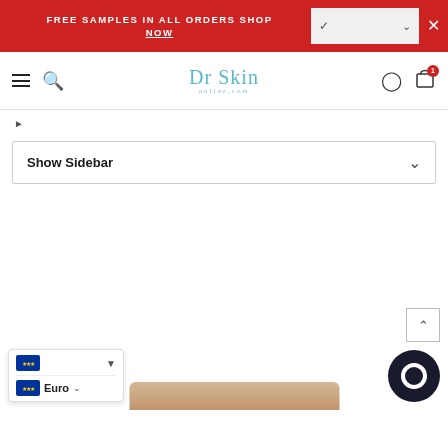FREE SAMPLES IN ALL ORDERS SHOP NOW
[Figure (logo): Dr Skin online.com logo in teal/cyan color]
Show Sidebar
[Figure (photo): Skincare product container partially visible at bottom of page]
Euro
[Figure (other): Chat widget icon - dark circle with white ring]